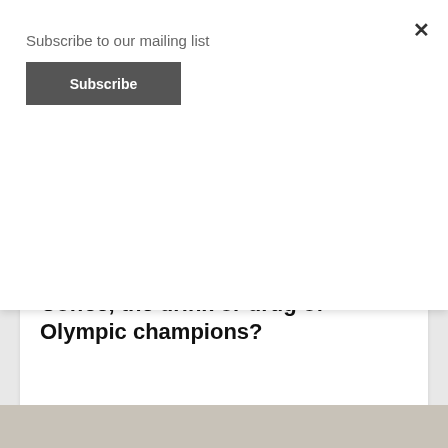Subscribe to our mailing list
Subscribe
surprising, you aren't alone in your shock.
September 16, 2021  0
Coffee, the drink or drug of Olympic champions?
[Figure (photo): Bottom portion of a photograph, appears to show a surface with coffee-related items, muted gray-brown tones]